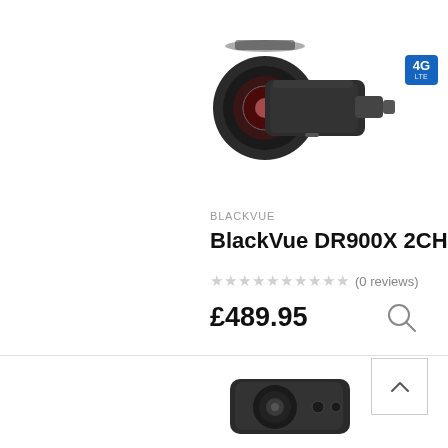[Figure (photo): BlackVue DR900X 2CH dash camera product image with 4G LTE badge, shown from side angle]
BLACKVUE
BlackVue DR900X 2CH
★★★★★★★★★★ (0 reviews)
£489.95
[Figure (photo): Second dash camera product image, partially visible at bottom of page]